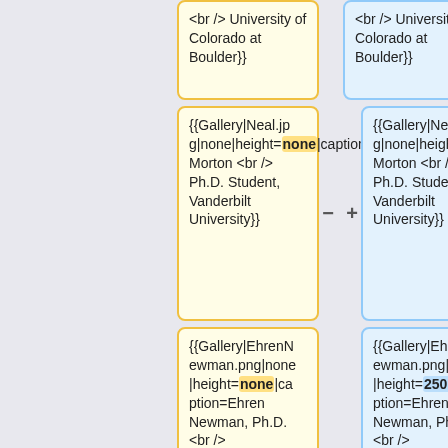<br /> University of Colorado at Boulder}}
<br /> University of Colorado at Boulder}}
{{Gallery|Neal.jpg|none|height=none|caption=Neal Morton <br /> Ph.D. Student, Vanderbilt University}}
{{Gallery|Neal.jpg|none|height=250px|caption=Neal Morton <br /> Ph.D. Student, Vanderbilt University}}
{{Gallery|EhrenNewman.png|none|height=none|caption=Ehren Newman, Ph.D. <br /> Postdoctoral Fellow, <br /> Boston University}}
{{Gallery|EhrenNewman.png|none|height=250px|caption=Ehren Newman, Ph.D. <br /> Postdoctoral Fellow, <br /> Boston University}}
{{Gallery|Sean.jp
{{Gallery|Sean.jp